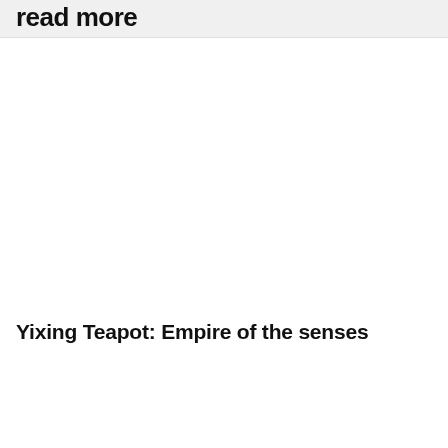read more
Yixing Teapot: Empire of the senses